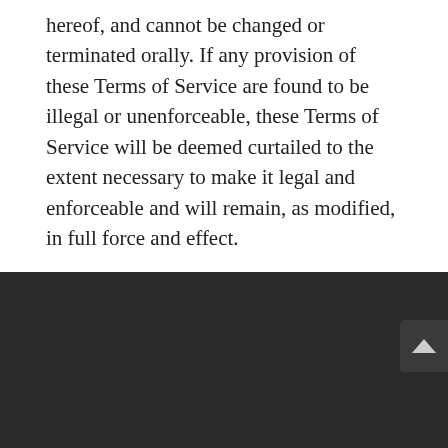hereof, and cannot be changed or terminated orally. If any provision of these Terms of Service are found to be illegal or unenforceable, these Terms of Service will be deemed curtailed to the extent necessary to make it legal and enforceable and will remain, as modified, in full force and effect.